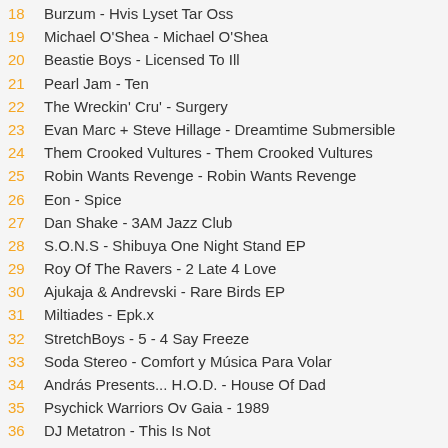18  Burzum - Hvis Lyset Tar Oss
19  Michael O'Shea - Michael O'Shea
20  Beastie Boys - Licensed To Ill
21  Pearl Jam - Ten
22  The Wreckin' Cru' - Surgery
23  Evan Marc + Steve Hillage - Dreamtime Submersible
24  Them Crooked Vultures - Them Crooked Vultures
25  Robin Wants Revenge - Robin Wants Revenge
26  Eon - Spice
27  Dan Shake - 3AM Jazz Club
28  S.O.N.S - Shibuya One Night Stand EP
29  Roy Of The Ravers - 2 Late 4 Love
30  Ajukaja & Andrevski - Rare Birds EP
31  Miltiades - Epk.x
32  StretchBoys - 5 - 4 Say Freeze
33  Soda Stereo - Comfort y Música Para Volar
34  András Presents... H.O.D. - House Of Dad
35  Psychick Warriors Ov Gaia - 1989
36  DJ Metatron - This Is Not...